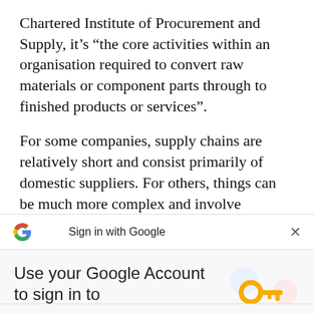Chartered Institute of Procurement and Supply, it’s “the core activities within an organisation required to convert raw materials or component parts through to finished products or services”.
For some companies, supply chains are relatively short and consist primarily of domestic suppliers. For others, things can be much more complex and involve multiple tiers of sub-suppliers located in
[Figure (screenshot): Google Sign-in bar overlay showing Google G logo, text 'Sign in with Google', and an X close button]
[Figure (screenshot): Google Account sign-in modal panel with title 'Use your Google Account to sign in to businessdesk.co.nz', subtitle 'No more passwords to remember. Signing in is fast, simple and secure.', a key illustration, and a blue Continue button]